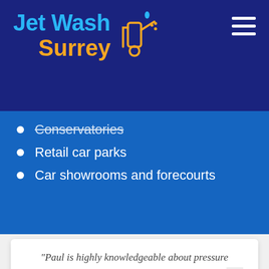[Figure (logo): Jet Wash Surrey logo with jet wash icon on dark navy background]
Conservatories
Retail car parks
Car showrooms and forecourts
“Paul is highly knowledgeable about pressure washing, so gave us sound advice about how the side of our building could be cleaned. They did a
[Figure (logo): Google Rating widget showing 5.0 stars with Google G logo]